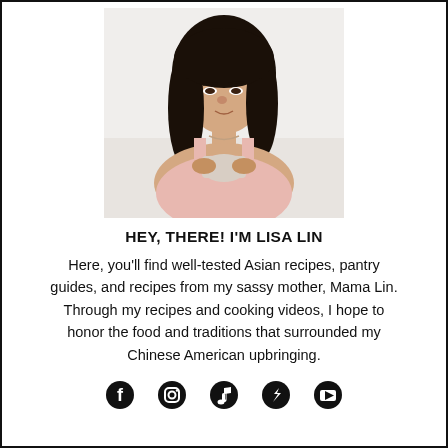[Figure (photo): Portrait photo of a woman with dark shoulder-length hair, wearing a floral top, holding a mug, looking upward to the right against a light background.]
HEY, THERE! I'M LISA LIN
Here, you'll find well-tested Asian recipes, pantry guides, and recipes from my sassy mother, Mama Lin. Through my recipes and cooking videos, I hope to honor the food and traditions that surrounded my Chinese American upbringing.
[Figure (infographic): Row of social media icons: Facebook, Instagram, Pinterest, TikTok, YouTube]